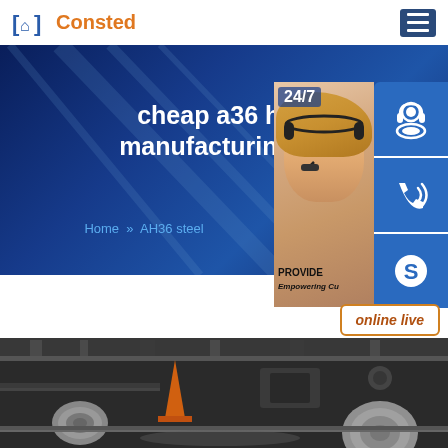Consted
[Figure (screenshot): Hero banner with text 'cheap a36 hou... manufacturing su...' and breadcrumb 'Home >> AH36 steel' on dark blue background]
[Figure (infographic): Customer support sidebar with 24/7 label, photo of woman with headset, PROVIDE / Empowering Cu... text, three blue icon buttons (headset, phone, Skype), and 'online live' button]
[Figure (photo): Industrial steel manufacturing facility showing steel coils/rolls on a production line]